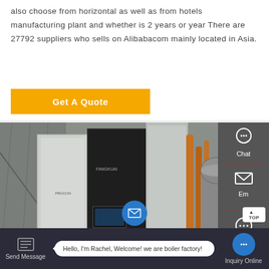also choose from horizontal as well as from hotels manufacturing plant and whether is 2 years or year There are 27792 suppliers who sells on Alibabacom mainly located in Asia.
Get A Quote
[Figure (photo): Industrial boiler equipment in a manufacturing facility showing large black and white boiler units with copper/orange pipes and metal cylindrical tanks in background]
Chat
Email
Contact
Hello, I'm Rachel, Welcome! we are boiler factory!
Send Message
Inquiry Online